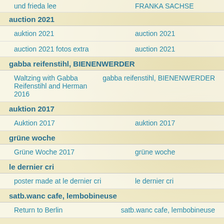| und frieda lee | FRANKA SACHSE |
auction 2021
| auktion 2021 | auction 2021 |
| auction 2021 fotos extra | auction 2021 |
gabba reifenstihl, BIENENWERDER
| Waltzing with Gabba Reifenstihl and Herman 2016 | gabba reifenstihl, BIENENWERDER |
auktion 2017
| Auktion 2017 | auktion 2017 |
grüne woche
| Grüne Woche 2017 | grüne woche |
le dernier cri
| poster made at le dernier cri | le dernier cri |
satb.wanc cafe, lembobineuse
| Return to Berlin | satb.wanc cafe, lembobineuse |